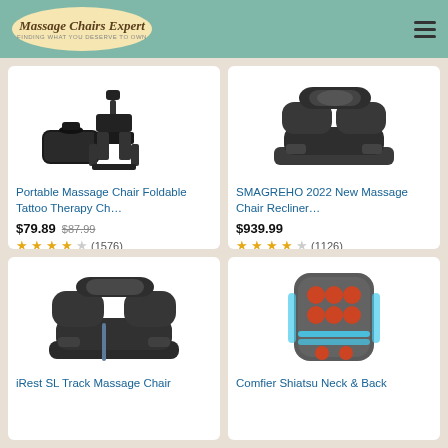Massage Chairs Expert
[Figure (photo): Portable foldable massage chair with carrying bag, black]
Portable Massage Chair Foldable Tattoo Therapy Ch...
$79.89  $87.99  (1576)
[Figure (photo): SMAGREHO 2022 full body zero-gravity massage chair recliner, dark gray]
SMAGREHO 2022 New Massage Chair Recliner...
$939.99  (1126)
[Figure (photo): iRest SL Track full body zero-gravity massage chair, black]
iRest SL Track Massage Chair
[Figure (photo): Comfier Shiatsu Neck and Back massager with heat, seat cushion with blue lights]
Comfier Shiatsu Neck & Back